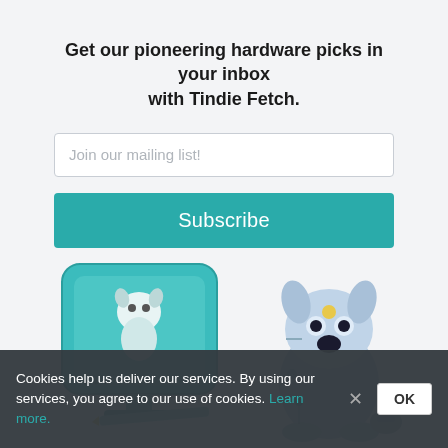Get our pioneering hardware picks in your inbox with Tindie Fetch.
[Figure (illustration): Input field with placeholder text 'Join our mailing list!']
[Figure (illustration): Teal Subscribe button]
[Figure (illustration): Two illustrations: a robot dog on a teal computer monitor on the left, and a robotic dog sitting on the right, in a cartoon style with teal and gray colors]
Cookies help us deliver our services. By using our services, you agree to our use of cookies. Learn more.
OK